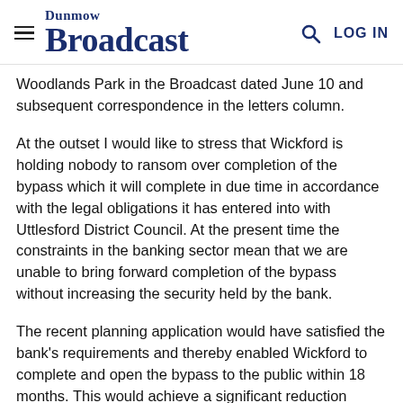Dunmow Broadcast
Woodlands Park in the Broadcast dated June 10 and subsequent correspondence in the letters column.
At the outset I would like to stress that Wickford is holding nobody to ransom over completion of the bypass which it will complete in due time in accordance with the legal obligations it has entered into with Uttlesford District Council. At the present time the constraints in the banking sector mean that we are unable to bring forward completion of the bypass without increasing the security held by the bank.
The recent planning application would have satisfied the bank's requirements and thereby enabled Wickford to complete and open the bypass to the public within 18 months. This would achieve a significant reduction